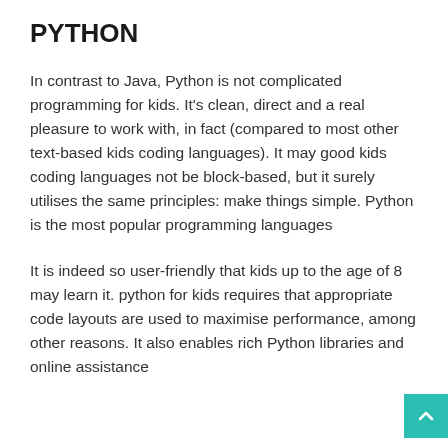PYTHON
In contrast to Java, Python is not complicated programming for kids. It's clean, direct and a real pleasure to work with, in fact (compared to most other text-based kids coding languages). It may good kids coding languages not be block-based, but it surely utilises the same principles: make things simple. Python is the most popular programming languages
It is indeed so user-friendly that kids up to the age of 8 may learn it. python for kids requires that appropriate code layouts are used to maximise performance, among other reasons. It also enables rich Python libraries and online assistance